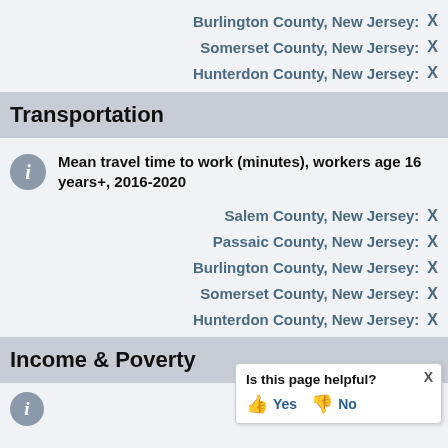Burlington County, New Jersey: X
Somerset County, New Jersey: X
Hunterdon County, New Jersey: X
Transportation
Mean travel time to work (minutes), workers age 16 years+, 2016-2020
Salem County, New Jersey: X
Passaic County, New Jersey: X
Burlington County, New Jersey: X
Somerset County, New Jersey: X
Hunterdon County, New Jersey: X
Income & Poverty
Is this page helpful? Yes No